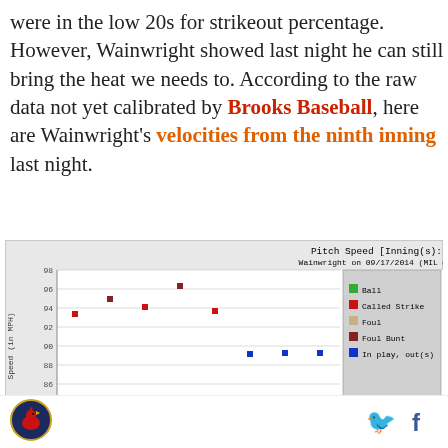were in the low 20s for strikeout percentage. However, Wainwright showed last night he can still bring the heat we needs to. According to the raw data not yet calibrated by Brooks Baseball, here are Wainwright's velocities from the ninth inning last night.
[Figure (scatter-plot): Scatter plot of Wainwright pitch speeds in inning 9. Points range from ~89 to ~97 MPH. Legend: Ball (green), Called Strike (red), Foul (tan/beige), Foul Bunt (dark red/brown), In play, out(s) (blue).]